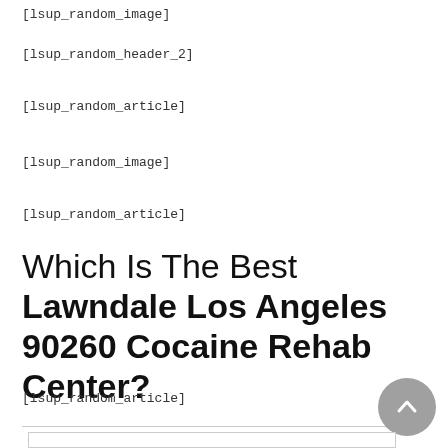[lsup_random_image]
[lsup_random_header_2]
[lsup_random_article]
[lsup_random_image]
[lsup_random_article]
Which Is The Best Lawndale Los Angeles 90260 Cocaine Rehab Center?
[lsup_random_article]